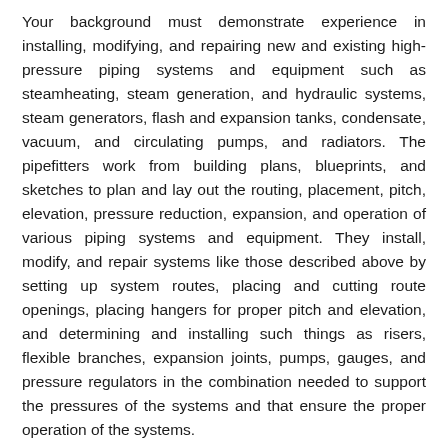Your background must demonstrate experience in installing, modifying, and repairing new and existing high-pressure piping systems and equipment such as steamheating, steam generation, and hydraulic systems, steam generators, flash and expansion tanks, condensate, vacuum, and circulating pumps, and radiators. The pipefitters work from building plans, blueprints, and sketches to plan and lay out the routing, placement, pitch, elevation, pressure reduction, expansion, and operation of various piping systems and equipment. They install, modify, and repair systems like those described above by setting up system routes, placing and cutting route openings, placing hangers for proper pitch and elevation, and determining and installing such things as risers, flexible branches, expansion joints, pumps, gauges, and pressure regulators in the combination needed to support the pressures of the systems and that ensure the proper operation of the systems.